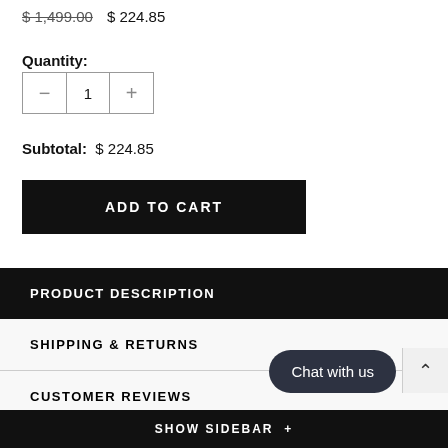$1,499.00  $224.85
Quantity:
1
Subtotal:  $224.85
ADD TO CART
PRODUCT DESCRIPTION
SHIPPING & RETURNS
CUSTOMER REVIEWS
Chat with us
SHOW SIDEBAR +